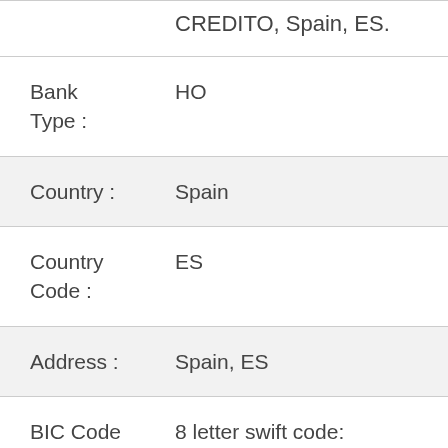CREDITO, Spain, ES.
Bank Type : HO
Country : Spain
Country Code : ES
Address : Spain, ES
BIC Code  8 letter swift code: